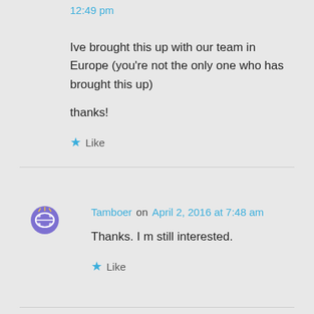12:49 pm
Ive brought this up with our team in Europe (you're not the only one who has brought this up)

thanks!
Like
Tamboer on April 2, 2016 at 7:48 am
Thanks. I m still interested.
Like